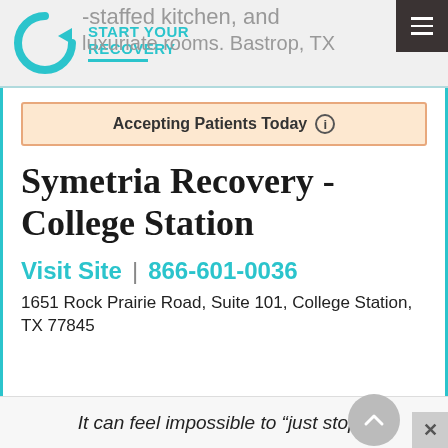START YOUR RECOVERY
Accepting Patients Today
Symetria Recovery - College Station
Visit Site | 866-601-0036
1651 Rock Prairie Road, Suite 101, College Station, TX 77845
It can feel impossible to “just stop”.